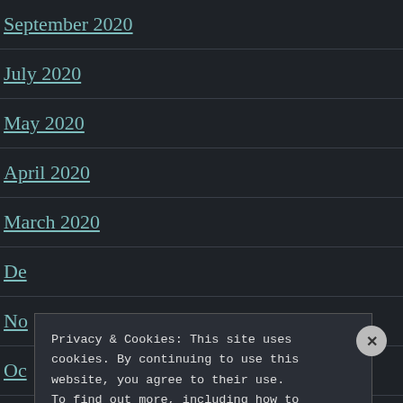September 2020
July 2020
May 2020
April 2020
March 2020
De
No
Oc
Privacy & Cookies: This site uses cookies. By continuing to use this website, you agree to their use. To find out more, including how to control cookies, see here: Cookie Policy
Close and accept